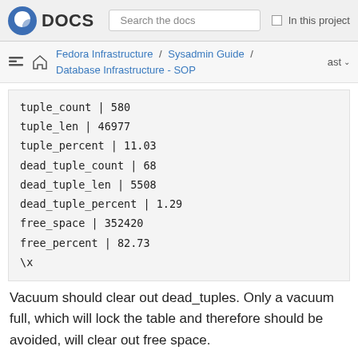DOCS  Search the docs  In this project
Fedora Infrastructure / Sysadmin Guide / Database Infrastructure - SOP  ast
tuple_count        | 580
tuple_len          | 46977
tuple_percent      | 11.03
dead_tuple_count   | 68
dead_tuple_len     | 5508
dead_tuple_percent | 1.29
free_space         | 352420
free_percent       | 82.73
\x
Vacuum should clear out dead_tuples. Only a vacuum full, which will lock the table and therefore should be avoided, will clear out free space.